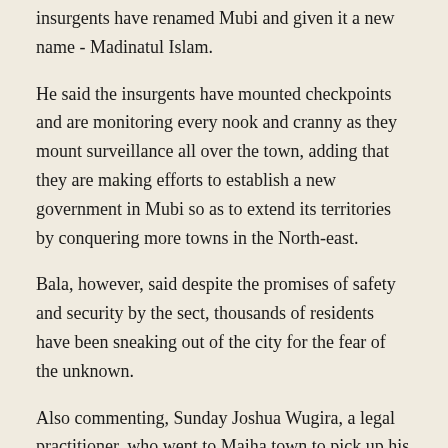insurgents have renamed Mubi and given it a new name - Madinatul Islam.
He said the insurgents have mounted checkpoints and are monitoring every nook and cranny as they mount surveillance all over the town, adding that they are making efforts to establish a new government in Mubi so as to extend its territories by conquering more towns in the North-east.
Bala, however, said despite the promises of safety and security by the sect, thousands of residents have been sneaking out of the city for the fear of the unknown.
Also commenting, Sunday Joshua Wugira, a legal practitioner, who went to Maiha town to pick up his aged parents who fled to the town from Mubi, said despite the assurance by the insurgents, several trapped residents were still fleeing, including soldiers.
“I was in Maiha a few hours ago, the pathetic plight of the people I